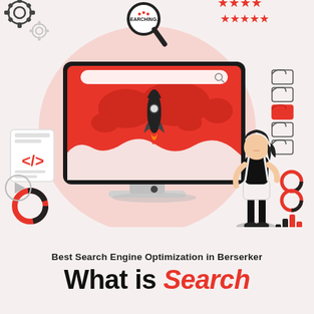[Figure (illustration): SEO infographic illustration: a large desktop computer monitor with a red background showing a world map and a rocket launching upward, a magnifying glass with 'SEARCHING...' text at the top, red star rating icons, gear icons, folder icons, code symbol, donut chart, bar chart, and a standing woman figure. Pink circular background behind the monitor.]
Best Search Engine Optimization in Berserker
What is Search